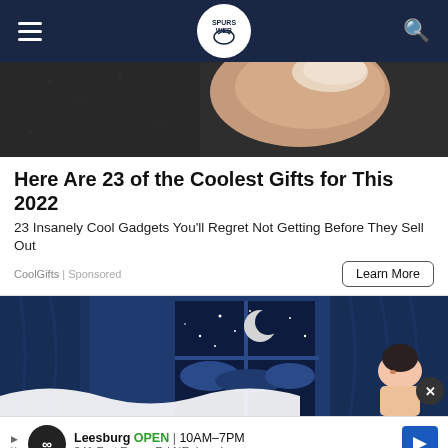Spurs Web — navigation header with hamburger menu, logo, and search icon
[Figure (photo): Close-up photo of a thumb/finger on a dark textured surface, partial crop]
Here Are 23 of the Coolest Gifts for This 2022
23 Insanely Cool Gadgets You'll Regret Not Getting Before They Sell Out
CoolGifts | Sponsored
Learn More
[Figure (illustration): Illustrated night scene with a person looking out a window at a crescent moon and stars, dark blue curtains]
Leesburg OPEN | 10AM–7PM  241 Fort Evans Rd NE, Leesburg